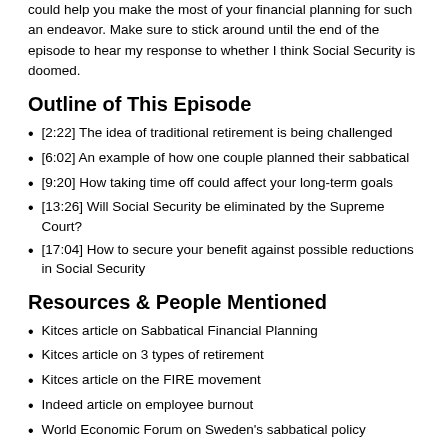could help you make the most of your financial planning for such an endeavor. Make sure to stick around until the end of the episode to hear my response to whether I think Social Security is doomed.
Outline of This Episode
[2:22] The idea of traditional retirement is being challenged
[6:02] An example of how one couple planned their sabbatical
[9:20] How taking time off could affect your long-term goals
[13:26] Will Social Security be eliminated by the Supreme Court?
[17:04] How to secure your benefit against possible reductions in Social Security
Resources & People Mentioned
Kitces article on Sabbatical Financial Planning
Kitces article on 3 types of retirement
Kitces article on the FIRE movement
Indeed article on employee burnout
World Economic Forum on Sweden's sabbatical policy
Research on the Great Resignation
Reuter's labor article
Interactive planning tools
Finding your tax equilibrium
Harvesting capital gains
Marketwatch article on Social Security